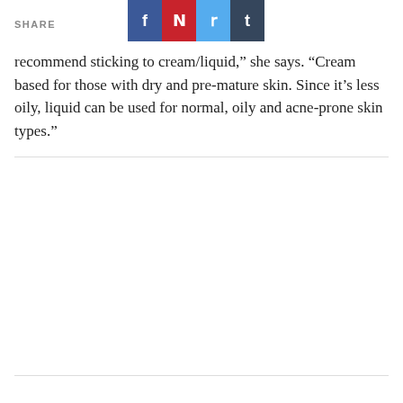SHARE
recommend sticking to cream/liquid,” she says. “Cream based for those with dry and pre-mature skin. Since it’s less oily, liquid can be used for normal, oily and acne-prone skin types.”